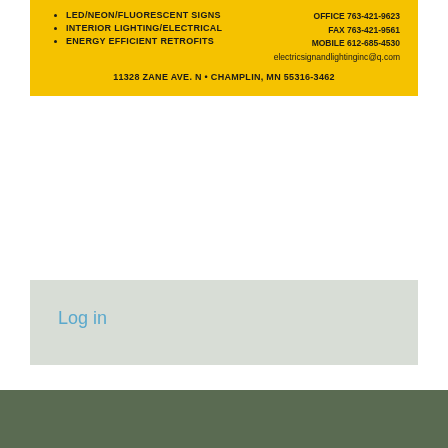LED/NEON/FLUORESCENT SIGNS | INTERIOR LIGHTING/ELECTRICAL | ENERGY EFFICIENT RETROFITS | OFFICE 763-421-9623 | FAX 763-421-9561 | MOBILE 612-685-4530 | electricsignandlightinginc@q.com | 11328 ZANE AVE. N • CHAMPLIN, MN 55316-3462
Log in